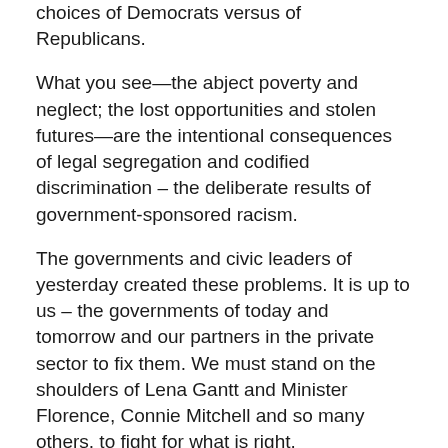choices of Democrats versus of Republicans.
What you see—the abject poverty and neglect; the lost opportunities and stolen futures—are the intentional consequences of legal segregation and codified discrimination – the deliberate results of government-sponsored racism.
The governments and civic leaders of yesterday created these problems. It is up to us – the governments of today and tomorrow and our partners in the private sector to fix them. We must stand on the shoulders of Lena Gantt and Minister Florence, Connie Mitchell and so many others, to fight for what is right.
Racial equity. Long overdue racial equity.
Rochester's History of Institutional Racism
In 1933, the federal government established the Home Owner's Loan Corporation (HOLC) as a